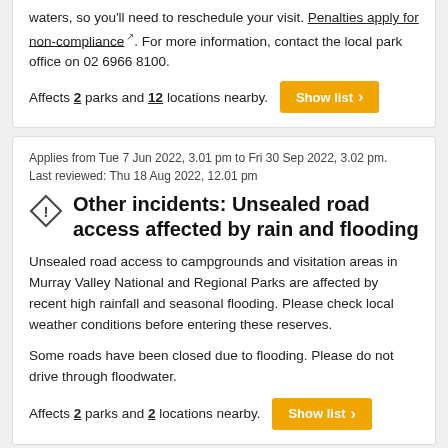waters, so you'll need to reschedule your visit. Penalties apply for non-compliance [external link]. For more information, contact the local park office on 02 6966 8100.
Affects 2 parks and 12 locations nearby. [Show list >]
Applies from Tue 7 Jun 2022, 3.01 pm to Fri 30 Sep 2022, 3.02 pm.
Last reviewed: Thu 18 Aug 2022, 12.01 pm
Other incidents: Unsealed road access affected by rain and flooding
Unsealed road access to campgrounds and visitation areas in Murray Valley National and Regional Parks are affected by recent high rainfall and seasonal flooding. Please check local weather conditions before entering these reserves.
Some roads have been closed due to flooding. Please do not drive through floodwater.
Affects 2 parks and 2 locations nearby. [Show list >]
Applies from Tue 7 Jun 2022, 2.51 pm to Fri 30 Sep 2022, 2.52 pm.
Last reviewed: Thu 18 Aug 2022, 10.26 am